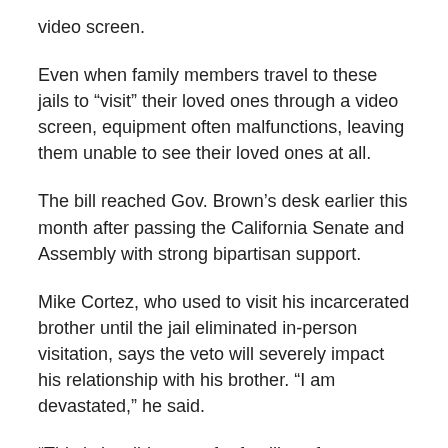video screen.
Even when family members travel to these jails to “visit” their loved ones through a video screen, equipment often malfunctions, leaving them unable to see their loved ones at all.
The bill reached Gov. Brown’s desk earlier this month after passing the California Senate and Assembly with strong bipartisan support.
Mike Cortez, who used to visit his incarcerated brother until the jail eliminated in-person visitation, says the veto will severely impact his relationship with his brother. “I am devastated,” he said.
“This is horrible news for families of incarcerated people.